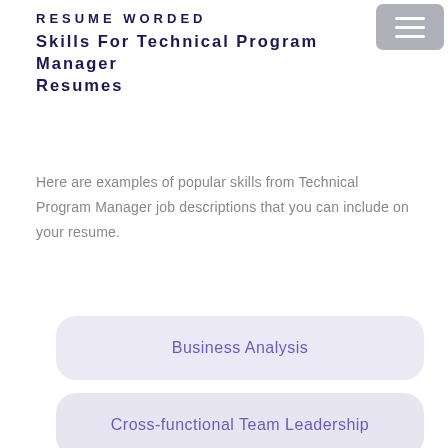RESUME WORDED
Skills For Technical Program Manager Resumes
Here are examples of popular skills from Technical Program Manager job descriptions that you can include on your resume.
Business Analysis
Cross-functional Team Leadership
Integration
Amazon Web Services (AWS)